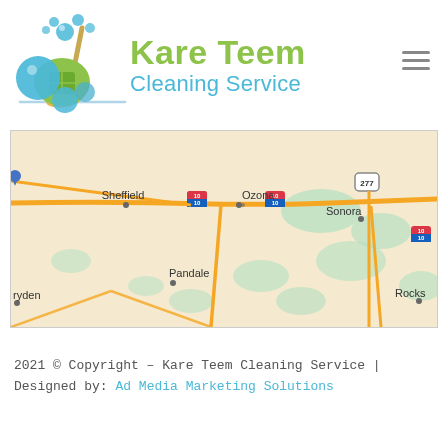[Figure (logo): Kare Teem Cleaning Service logo with illustrated broom, house, and bubbles in blue and green colors, with company name in green and blue text]
[Figure (map): Google Maps screenshot showing West Texas region including Sheffield, Ozona, Sonora, Pandale, Dryden, and Rocksprings areas with Interstate 10 and highway 277 visible]
2021 © Copyright – Kare Teem Cleaning Service | Designed by: Ad Media Marketing Solutions